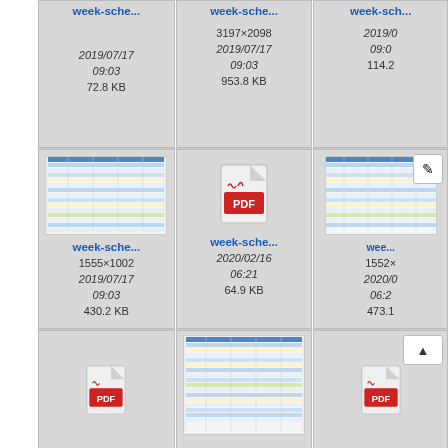[Figure (screenshot): File browser grid showing week-schedule file thumbnails. Row 1 (partial, top): three cards showing week-sche... links, dates 2019/07/17 09:03, file sizes 72.8 KB, 953.8 KB (3197×2098), 114.2... Row 2: three cards - first has spreadsheet thumbnail (week-sche..., 1555×1002, 2019/07/17 09:03, 430.2 KB), second has PDF icon (week-sche..., 2020/02/16 06:21, 64.9 KB), third has spreadsheet thumbnail with pencil edit icon (wee..., 1552×?, 2020/0?, 06:2?, 473.1). Row 3 (partial, bottom): three cards - first has PDF icon, second has spreadsheet thumbnail, third has PDF icon with scroll-up arrow button.]